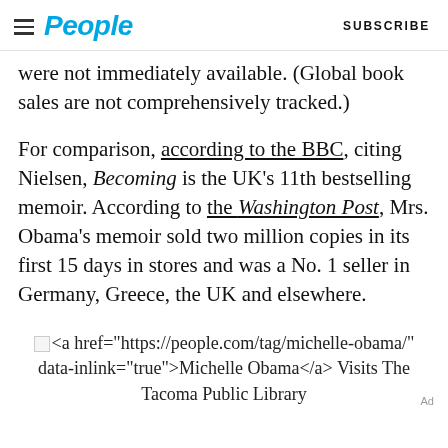People  SUBSCRIBE
were not immediately available. (Global book sales are not comprehensively tracked.)
For comparison, according to the BBC, citing Nielsen, Becoming is the UK’s 11th bestselling memoir. According to the Washington Post, Mrs. Obama’s memoir sold two million copies in its first 15 days in stores and was a No. 1 seller in Germany, Greece, the UK and elsewhere.
<a href="https://people.com/tag/michelle-obama/" data-inlink="true">Michelle Obama</a> Visits The Tacoma Public Library